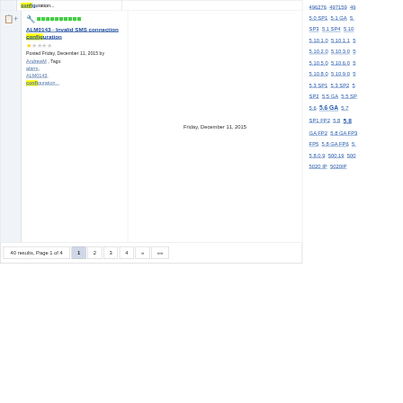ALM0144, configuration...
ALM0143 - Invalid SMS connection configuration
Posted Friday, December 11, 2015 by AndrewM , Tags: alarm, ALM0143, configuration...
Friday, December 11, 2015
40 results, Page 1 of 4  1 2 3 4 » »»
496276  497159  5.0 SP1  5.1 GA  SP3  5.1 SP4  5.10  5.10.1.0  5.10.1.1  5.10.2.0  5.10.3.0  5.10.5.0  5.10.6.0  5.10.8.0  5.10.9.0  5.3 SP1  5.3 SP2  SP2  5.5 GA  5.5 SP  5.6  5.6 GA  5.7  SP1 FP2  5.8  5.8 GA FP2  5.8 GA FP3  FP5  5.8 GA FP6  5.8.0.9  500.19  500  5020 IP  5020IP